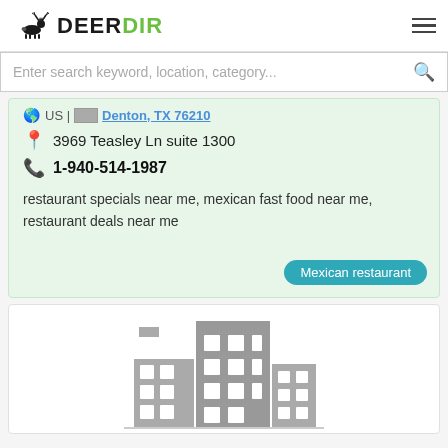DeerDir
Enter search keyword, location, category...
US | Denton, TX 76210
3969 Teasley Ln suite 1300
1-940-514-1987
restaurant specials near me, mexican fast food near me, restaurant deals near me
Mexican restaurant
[Figure (illustration): Building/city icon placeholder image — grey buildings silhouette]